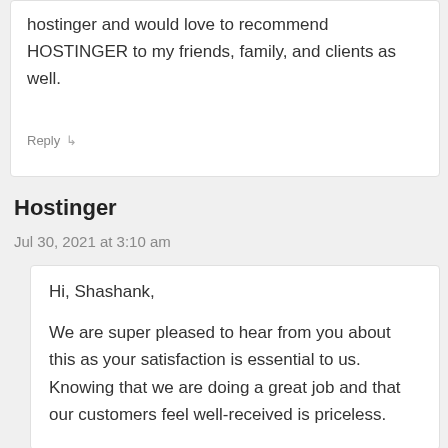hostinger and would love to recommend HOSTINGER to my friends, family, and clients as well.
Reply ↳
Hostinger
Jul 30, 2021 at 3:10 am
Hi, Shashank,

We are super pleased to hear from you about this as your satisfaction is essential to us. Knowing that we are doing a great job and that our customers feel well-received is priceless.